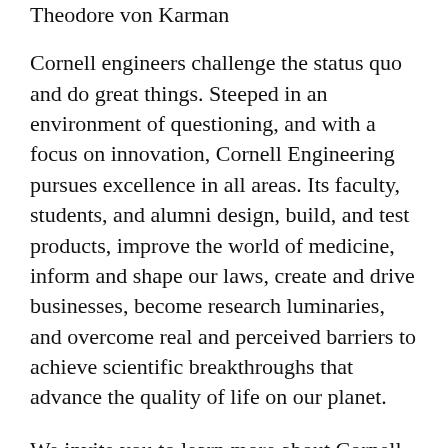Theodore von Karman
Cornell engineers challenge the status quo and do great things. Steeped in an environment of questioning, and with a focus on innovation, Cornell Engineering pursues excellence in all areas. Its faculty, students, and alumni design, build, and test products, improve the world of medicine, inform and shape our laws, create and drive businesses, become research luminaries, and overcome real and perceived barriers to achieve scientific breakthroughs that advance the quality of life on our planet.
We invite you to learn more about Cornell